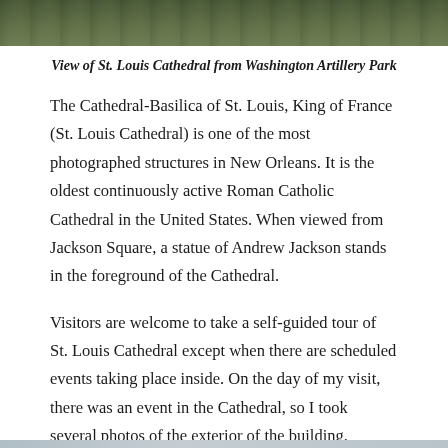[Figure (photo): Top portion of a photo showing St. Louis Cathedral viewed from Washington Artillery Park, with green foliage in the foreground]
View of St. Louis Cathedral from Washington Artillery Park
The Cathedral-Basilica of St. Louis, King of France (St. Louis Cathedral) is one of the most photographed structures in New Orleans. It is the oldest continuously active Roman Catholic Cathedral in the United States. When viewed from Jackson Square, a statue of Andrew Jackson stands in the foreground of the Cathedral.
Visitors are welcome to take a self-guided tour of St. Louis Cathedral except when there are scheduled events taking place inside. On the day of my visit, there was an event in the Cathedral, so I took several photos of the exterior of the building.